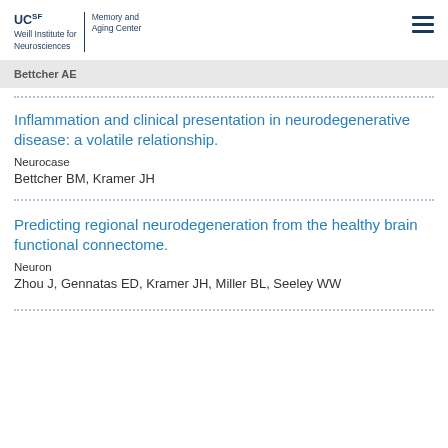UCSF Weill Institute for Neurosciences | Memory and Aging Center
Bettcher AE
Inflammation and clinical presentation in neurodegenerative disease: a volatile relationship.
Neurocase
Bettcher BM, Kramer JH
Predicting regional neurodegeneration from the healthy brain functional connectome.
Neuron
Zhou J, Gennatas ED, Kramer JH, Miller BL, Seeley WW